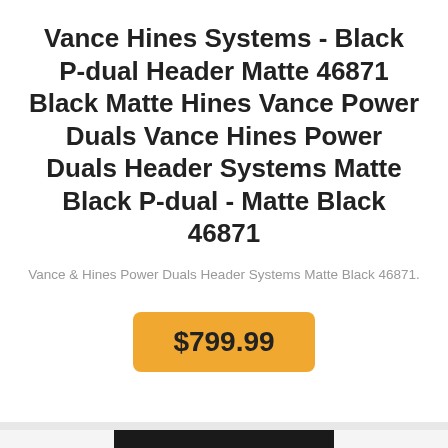Vance Hines Systems - Black P-dual Header Matte 46871 Black Matte Hines Vance Power Duals Vance Hines Power Duals Header Systems Matte Black P-dual - Matte Black 46871
Vance & Hines Power Duals Header Systems Matte Black 46871.
$799.99
[Figure (photo): Close-up photo of a motorcycle engine (black and white/monochrome), showing chrome exhaust headers and engine components of what appears to be a Harley-Davidson motorcycle.]